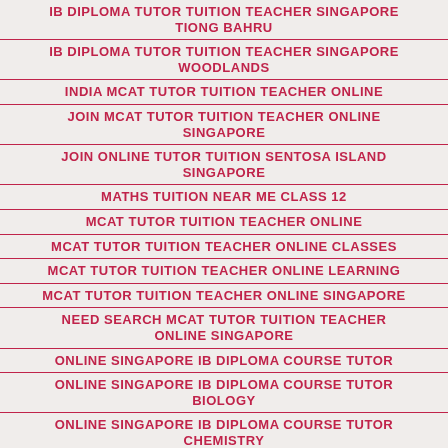IB DIPLOMA TUTOR TUITION TEACHER SINGAPORE TIONG BAHRU
IB DIPLOMA TUTOR TUITION TEACHER SINGAPORE WOODLANDS
INDIA MCAT TUTOR TUITION TEACHER ONLINE
JOIN MCAT TUTOR TUITION TEACHER ONLINE SINGAPORE
JOIN ONLINE TUTOR TUITION SENTOSA ISLAND SINGAPORE
MATHS TUITION NEAR ME CLASS 12
MCAT TUTOR TUITION TEACHER ONLINE
MCAT TUTOR TUITION TEACHER ONLINE CLASSES
MCAT TUTOR TUITION TEACHER ONLINE LEARNING
MCAT TUTOR TUITION TEACHER ONLINE SINGAPORE
NEED SEARCH MCAT TUTOR TUITION TEACHER ONLINE SINGAPORE
ONLINE SINGAPORE IB DIPLOMA COURSE TUTOR
ONLINE SINGAPORE IB DIPLOMA COURSE TUTOR BIOLOGY
ONLINE SINGAPORE IB DIPLOMA COURSE TUTOR CHEMISTRY